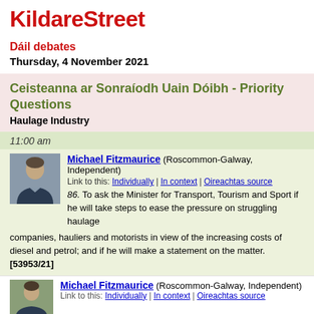KildareStreet
Dáil debates
Thursday, 4 November 2021
Ceisteanna ar Sonraíodh Uain Dóibh - Priority Questions
Haulage Industry
11:00 am
Michael Fitzmaurice (Roscommon-Galway, Independent)
Link to this: Individually | In context | Oireachtas source
86. To ask the Minister for Transport, Tourism and Sport if he will take steps to ease the pressure on struggling haulage companies, hauliers and motorists in view of the increasing costs of diesel and petrol; and if he will make a statement on the matter. [53953/21]
Michael Fitzmaurice (Roscommon-Galway, Independent)
Link to this: Individually | In context | Oireachtas source